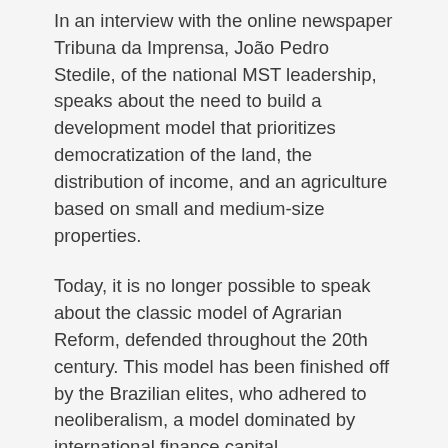In an interview with the online newspaper Tribuna da Imprensa, João Pedro Stedile, of the national MST leadership, speaks about the need to build a development model that prioritizes democratization of the land, the distribution of income, and an agriculture based on small and medium-size properties.
Today, it is no longer possible to speak about the classic model of Agrarian Reform, defended throughout the 20th century. This model has been finished off by the Brazilian elites, who adhered to neoliberalism, a model dominated by international finance capital.
For us in the MST, a new model of agrarian reform is understood as the need to change the production matrix in the countryside, that is to say, of defeating the current model that prioritizes alliances between finance capital and the latifúndio. The complete interview is in this special issue of MST Info...